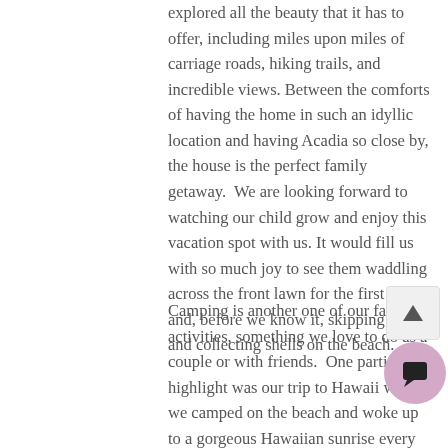explored all the beauty that it has to offer, including miles upon miles of carriage roads, hiking trails, and incredible views. Between the comforts of having the home in such an idyllic location and having Acadia so close by, the house is the perfect family getaway.  We are looking forward to watching our child grow and enjoy this vacation spot with us. It would fill us with so much joy to see them waddling across the front lawn for the first time, and, before we know it, skipping rocks and collecting shells on the beach.
Camping is another one of our favorite activities, something we love to do as a couple or with friends.  One particular highlight was our trip to Hawaii where we camped on the beach and woke up to a gorgeous Hawaiian sunrise every morning. Most of our other camping adventures have been with dear friends and those stories include some hilarious misfortunes, which we reflect back on as some of the best times we can remember.  We also love to travel, with trips